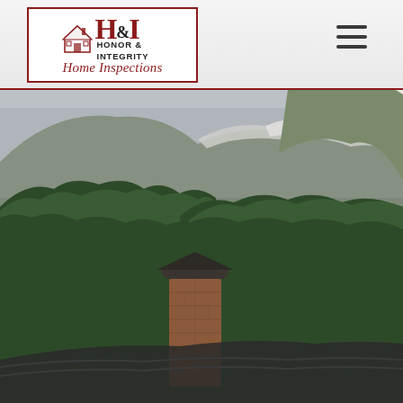[Figure (photo): Scenic landscape photo showing a mountain with snow-capped peaks and dense evergreen forest in the foreground, with a brick chimney and rooftop visible in the lower center of the image. Overcast grey sky. Hero background image for H&I Home Inspections website.]
[Figure (logo): H&I Honor & Integrity Home Inspections logo. Large stylized H&I letters in dark red, with a house silhouette icon, text 'HONOR & INTEGRITY' in black uppercase, and 'Home Inspections' in red italic below. Enclosed in a dark red rectangular border.]